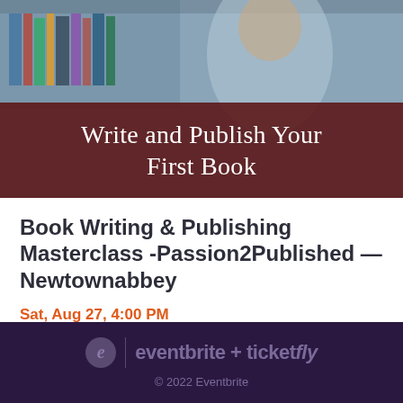[Figure (photo): Photo of a person studying in a library with bookshelves in background, overlaid with a dark red banner reading 'Write and Publish Your First Book']
Book Writing & Publishing Masterclass -Passion2Published — Newtownabbey
Sat, Aug 27, 4:00 PM
Online - Anywhere w/Fast Wifi and Sound,...
Free
eventbrite + ticketfly © 2022 Eventbrite